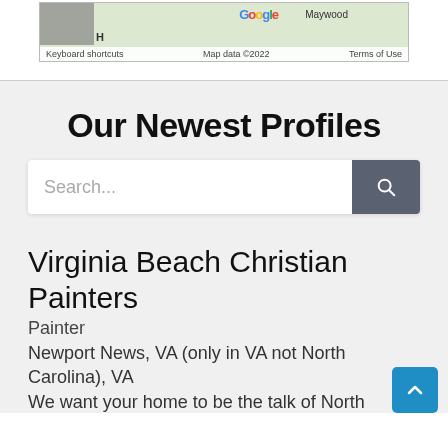[Figure (screenshot): Partial Google Maps screenshot showing map footer with keyboard shortcuts, map data ©2022, and Terms of Use labels, along with Google logo and Maywood label.]
Our Newest Profiles
Search...
Virginia Beach Christian Painters
Painter
Newport News, VA (only in VA not North Carolina), VA
We want your home to be the talk of North